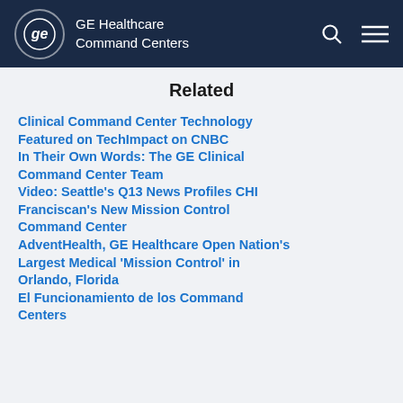GE Healthcare Command Centers
Related
Clinical Command Center Technology Featured on TechImpact on CNBC
In Their Own Words: The GE Clinical Command Center Team
Video: Seattle's Q13 News Profiles CHI Franciscan's New Mission Control Command Center
AdventHealth, GE Healthcare Open Nation's Largest Medical 'Mission Control' in Orlando, Florida
El Funcionamiento de los Command Centers